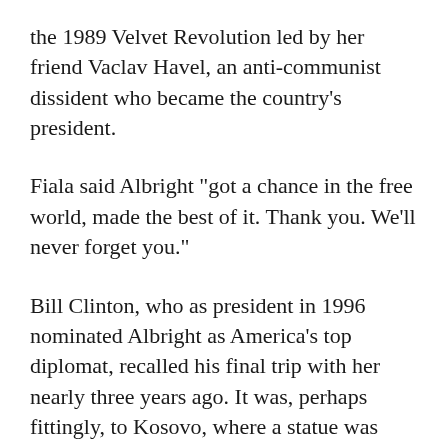the 1989 Velvet Revolution led by her friend Vaclav Havel, an anti-communist dissident who became the country's president.
Fiala said Albright "got a chance in the free world, made the best of it. Thank you. We'll never forget you."
Bill Clinton, who as president in 1996 nominated Albright as America's top diplomat, recalled his final trip with her nearly three years ago. It was, perhaps fittingly, to Kosovo, where a statue was dedicated in Pristina in her honor as the country commemorated the 20th anniversary of its fight for independence.
"Because she knew firsthand that America's policy decisions had the power to make a difference in people's lives around the world, she saw her jobs as both an obligation and an opportunity," Clinton said